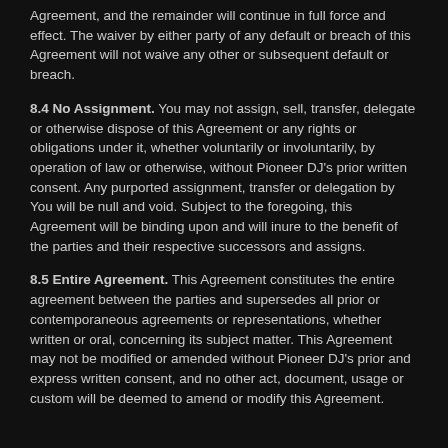Agreement, and the remainder will continue in full force and effect. The waiver by either party of any default or breach of this Agreement will not waive any other or subsequent default or breach.
8.4 No Assignment. You may not assign, sell, transfer, delegate or otherwise dispose of this Agreement or any rights or obligations under it, whether voluntarily or involuntarily, by operation of law or otherwise, without Pioneer DJ's prior written consent. Any purported assignment, transfer or delegation by You will be null and void. Subject to the foregoing, this Agreement will be binding upon and will inure to the benefit of the parties and their respective successors and assigns.
8.5 Entire Agreement. This Agreement constitutes the entire agreement between the parties and supersedes all prior or contemporaneous agreements or representations, whether written or oral, concerning its subject matter. This Agreement may not be modified or amended without Pioneer DJ's prior and express written consent, and no other act, document, usage or custom will be deemed to amend or modify this Agreement.